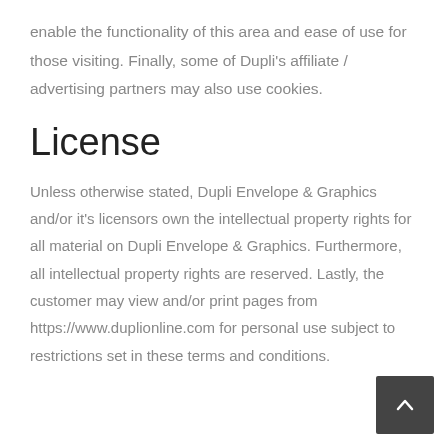enable the functionality of this area and ease of use for those visiting. Finally, some of Dupli's affiliate / advertising partners may also use cookies.
License
Unless otherwise stated, Dupli Envelope & Graphics and/or it's licensors own the intellectual property rights for all material on Dupli Envelope & Graphics. Furthermore, all intellectual property rights are reserved. Lastly, the customer may view and/or print pages from https://www.duplionline.com for personal use subject to restrictions set in these terms and conditions.